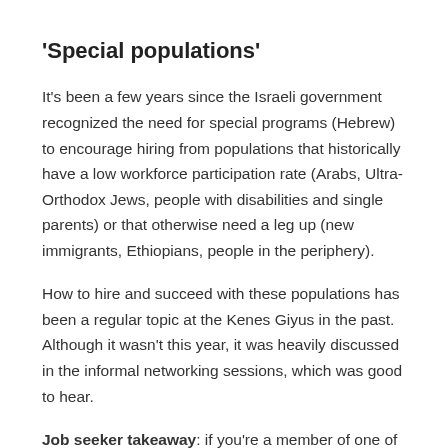'Special populations'
It's been a few years since the Israeli government recognized the need for special programs (Hebrew) to encourage hiring from populations that historically have a low workforce participation rate (Arabs, Ultra-Orthodox Jews, people with disabilities and single parents) or that otherwise need a leg up (new immigrants, Ethiopians, people in the periphery).
How to hire and succeed with these populations has been a regular topic at the Kenes Giyus in the past. Although it wasn't this year, it was heavily discussed in the informal networking sessions, which was good to hear.
Job seeker takeaway: if you're a member of one of these populations, seek out the extra help and support you have